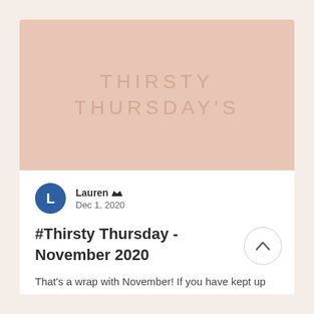[Figure (illustration): A pink/rose-toned rectangular hero image with the text 'THIRSTY THURSDAY'S' in thin, spaced-out light pink letters centered on a blush pink background.]
Lauren  Dec 1, 2020
#Thirsty Thursday - November 2020
That's a wrap with November! If you have kept up on Instagram you would have caught all the...